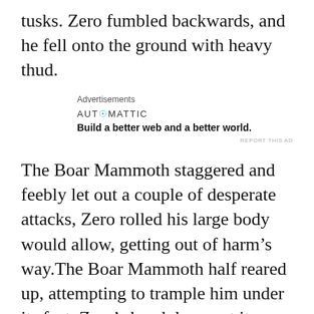tusks. Zero fumbled backwards, and he fell onto the ground with heavy thud.
[Figure (other): Automattic advertisement: 'Build a better web and a better world.']
The Boar Mammoth staggered and feebly let out a couple of desperate attacks, Zero rolled his large body would allow, getting out of harm's way.The Boar Mammoth half reared up, attempting to trample him under its feet. Zero's hand drew out its claw and impaled the Boar Mammoth the moment it struck. Blood swept downwards, completely covering his half of his face, especially his neck.